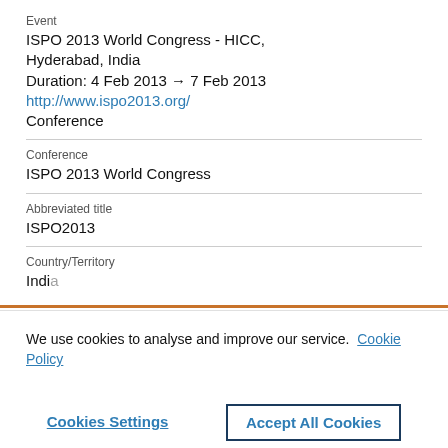Event
ISPO 2013 World Congress - HICC, Hyderabad, India
Duration: 4 Feb 2013 → 7 Feb 2013
http://www.ispo2013.org/
Conference
Conference
ISPO 2013 World Congress
Abbreviated title
ISPO2013
Country/Territory
We use cookies to analyse and improve our service. Cookie Policy
Cookies Settings
Accept All Cookies